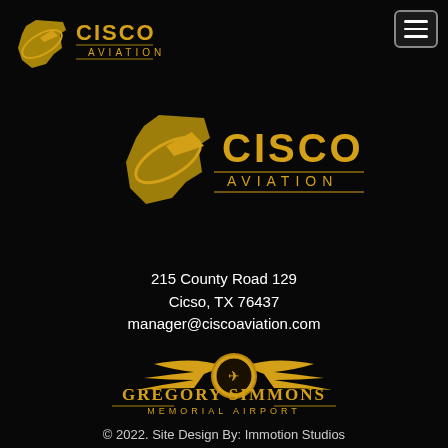[Figure (logo): Cisco Aviation logo top-left: gold Texas-state-shape with airplane and orbit ring, with CISCO AVIATION text in gold]
[Figure (logo): Hamburger menu icon button, top-right corner, white lines on dark rounded rectangle]
[Figure (logo): Cisco Aviation large centered logo: gold Texas-state-shape with airplane and orbit ring, large CISCO AVIATION text in gold]
215 County Road 129
Cicso, TX 76437
manager@ciscoaviation.com
[Figure (logo): Gregory Simmons Memorial Airport logo: gold wings with circular medallion emblem, GREGORY SIMMONS text and MEMORIAL AIRPORT subtitle in gold]
© 2022. Site Design By: Immotion Studios